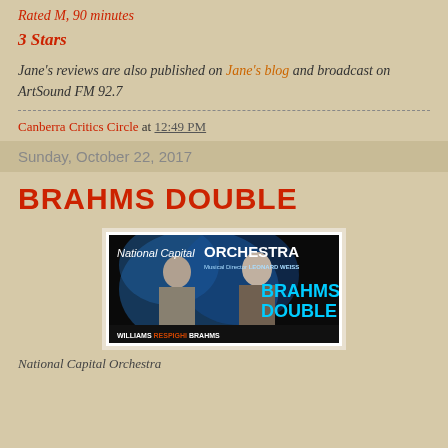Rated M, 90 minutes
3 Stars
Jane's reviews are also published on Jane's blog and broadcast on ArtSound FM 92.7
Canberra Critics Circle at 12:49 PM
Sunday, October 22, 2017
BRAHMS DOUBLE
[Figure (photo): National Capital Orchestra concert poster for Brahms Double, featuring Musical Director Leonard Weiss, performers Williams, Respighi, Brahms, 7:30pm 21 October 2017, Llewelyn Hall]
National Capital Orchestra